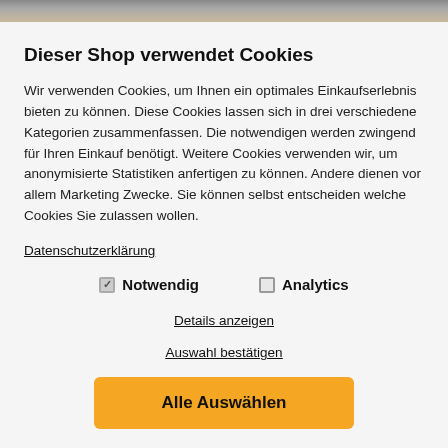[Figure (photo): Blurred top image bar showing partial product/shop image]
Dieser Shop verwendet Cookies
Wir verwenden Cookies, um Ihnen ein optimales Einkaufserlebnis bieten zu können. Diese Cookies lassen sich in drei verschiedene Kategorien zusammenfassen. Die notwendigen werden zwingend für Ihren Einkauf benötigt. Weitere Cookies verwenden wir, um anonymisierte Statistiken anfertigen zu können. Andere dienen vor allem Marketing Zwecke. Sie können selbst entscheiden welche Cookies Sie zulassen wollen.
Datenschutzerklärung
☑ Notwendig    ☐ Analytics
Details anzeigen
Auswahl bestätigen
Alle Auswählen